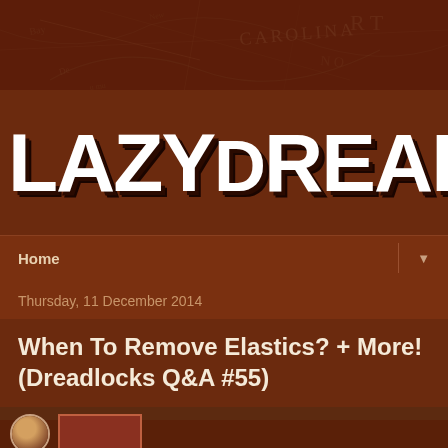[Figure (illustration): Dark brown vintage map background header image for LazyDreads blog]
LAZYDREADS
Home
Thursday, 11 December 2014
When To Remove Elastics? + More! (Dreadlocks Q&A #55)
[Figure (photo): Small circular thumbnail photo of a person with dreadlocks at bottom of page]